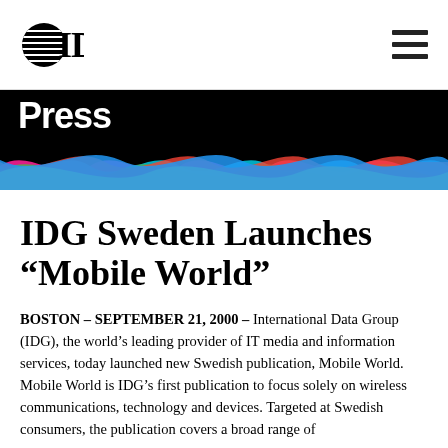[Figure (logo): IDG logo with globe icon on left and hamburger menu icon on right in white header bar]
Press
[Figure (illustration): Colorful interweaving ribbon/wave design in pink, cyan, green, red, yellow, blue on black background]
IDG Sweden Launches “Mobile World”
BOSTON – SEPTEMBER 21, 2000 – International Data Group (IDG), the world’s leading provider of IT media and information services, today launched new Swedish publication, Mobile World. Mobile World is IDG’s first publication to focus solely on wireless communications, technology and devices. Targeted at Swedish consumers, the publication covers a broad range of